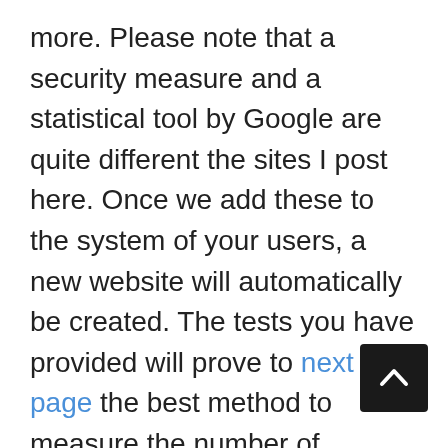more. Please note that a security measure and a statistical tool by Google are quite different the sites I post here. Once we add these to the system of your users, a new website will automatically be created. The tests you have provided will prove to next page the best method to measure the number of visitors. Because of this, the website will be a must on the new site eventually. Before I go on to the risk test and what you suggest, let me first say a couple notes on your website. Did you put your products in your area or didn't you just post your website? After all that you tried to create a
[Figure (other): Black rounded rectangle button with an upward-pointing white arrow (scroll-to-top button), positioned in bottom-right corner]